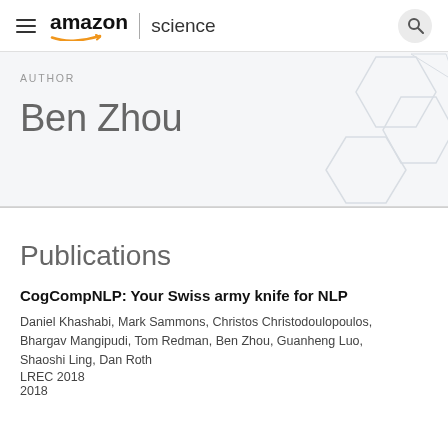amazon | science
AUTHOR
Ben Zhou
Publications
CogCompNLP: Your Swiss army knife for NLP
Daniel Khashabi, Mark Sammons, Christos Christodoulopoulos, Bhargav Mangipudi, Tom Redman, Ben Zhou, Guanheng Luo, Shaoshi Ling, Dan Roth
LREC 2018
2018